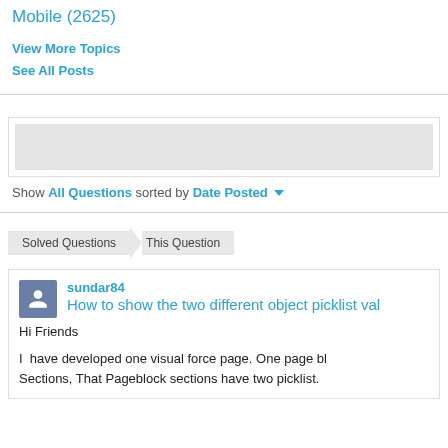Mobile (2625)
View More Topics
See All Posts
Show All Questions sorted by Date Posted
Solved Questions > This Question
sundar84
How to show the two different object picklist val...
Hi Friends
I  have developed one visual force page. One page bl... Sections, That Pageblock sections have two picklist.